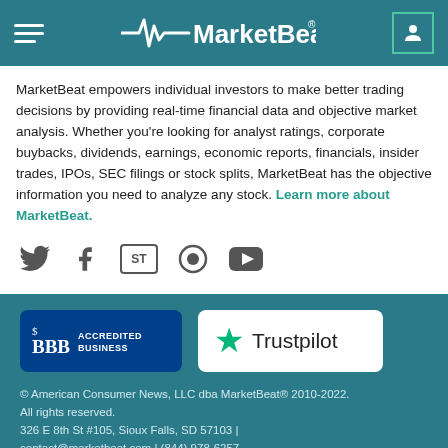MarketBeat
MarketBeat empowers individual investors to make better trading decisions by providing real-time financial data and objective market analysis. Whether you're looking for analyst ratings, corporate buybacks, dividends, earnings, economic reports, financials, insider trades, IPOs, SEC filings or stock splits, MarketBeat has the objective information you need to analyze any stock. Learn more about MarketBeat.
[Figure (other): Social media icons row: Twitter, Facebook, StockTwits, other icon, YouTube]
[Figure (logo): BBB Accredited Business badge - blue background with BBB logo and 'ACCREDITED BUSINESS' text]
[Figure (logo): Trustpilot badge - white background with green star and Trustpilot text]
© American Consumer News, LLC dba MarketBeat® 2010-2022. All rights reserved. 326 E 8th St #105, Sioux Falls, SD 57103 | contact@marketbeat.com | (844) 978-6257 MarketBeat does not provide personalized financial advice...